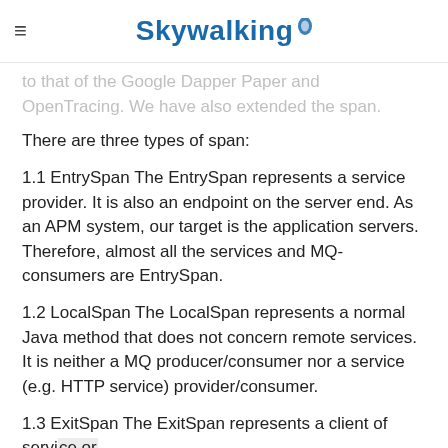Skywalking
to that of the Google Dapper Paper and OpenTracing. We have also extended the span.
There are three types of span:
1.1 EntrySpan The EntrySpan represents a service provider. It is also an endpoint on the server end. As an APM system, our target is the application servers. Therefore, almost all the services and MQ-consumers are EntrySpan.
1.2 LocalSpan The LocalSpan represents a normal Java method that does not concern remote services. It is neither a MQ producer/consumer nor a service (e.g. HTTP service) provider/consumer.
1.3 ExitSpan The ExitSpan represents a client of service or MQ-producer. It is named the LeafSpan in the early